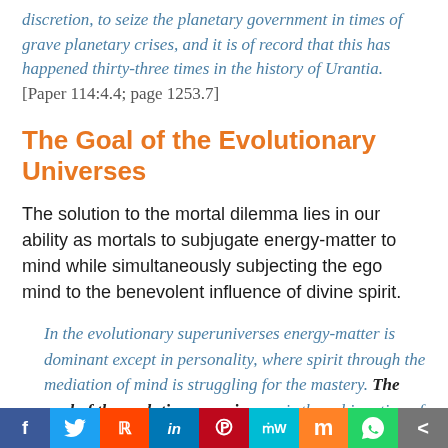discretion, to seize the planetary government in times of grave planetary crises, and it is of record that this has happened thirty-three times in the history of Urantia. [Paper 114:4.4; page 1253.7]
The Goal of the Evolutionary Universes
The solution to the mortal dilemma lies in our ability as mortals to subjugate energy-matter to mind while simultaneously subjecting the ego mind to the benevolent influence of divine spirit.
In the evolutionary superuniverses energy-matter is dominant except in personality, where spirit through the mediation of mind is struggling for the mastery. The goal of the evolutionary universes is the subjugation of energy-matter by mind, the co-ordination of mind with spirit, and all of this by
f  Twitter  Reddit  in  Pinterest  MW  Mix  WhatsApp  Share